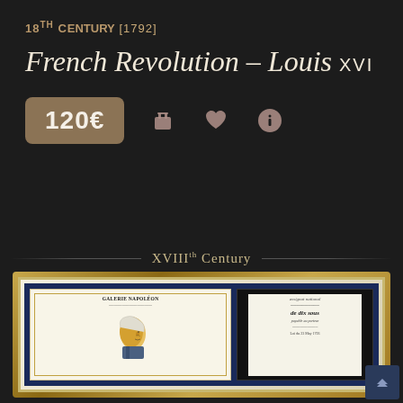18TH CENTURY [1792]
French Revolution – Louis XVI
120€
XVIIIth Century
[Figure (photo): Framed artwork showing two documents: a Galerie Napoléon print with a portrait of Louis XVI in profile and an antique French currency note with old French text]